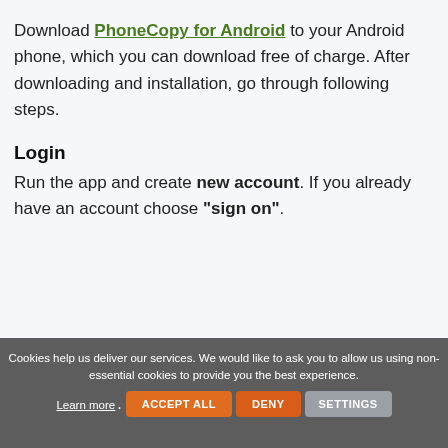Download PhoneCopy for Android to your Android phone, which you can download free of charge. After downloading and installation, go through following steps.
Login
Run the app and create new account. If you already have an account choose "sign on".
Cookies help us deliver our services. We would like to ask you to allow us using non-essential cookies to provide you the best experience. Learn more. ACCEPT ALL DENY SETTINGS